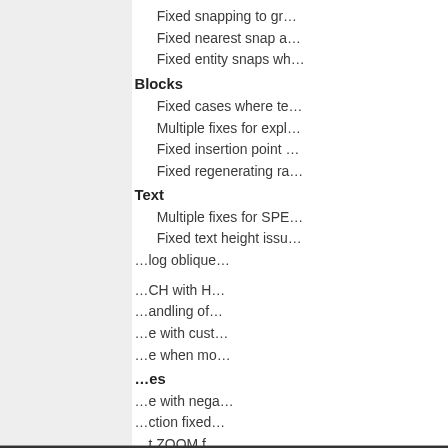Fixed snapping to gr…
Fixed nearest snap a…
Fixed entity snaps wh…
Blocks
Fixed cases where te…
Multiple fixes for expl…
Fixed insertion point …
Fixed regenerating ra…
Text
Multiple fixes for SPE…
Fixed text height issu…
log oblique…
CH with H…
andling of…
e with cust…
e when mo…
es
e with nega…
ction fixed…
t ZOOM f…
Fixed the ATTACH co…
Image printing fixed…
This website uses cookies to improve user experience. By using our website you consent to all cookies in accordance with our Cookie Policy. Cookie Policy
Accept